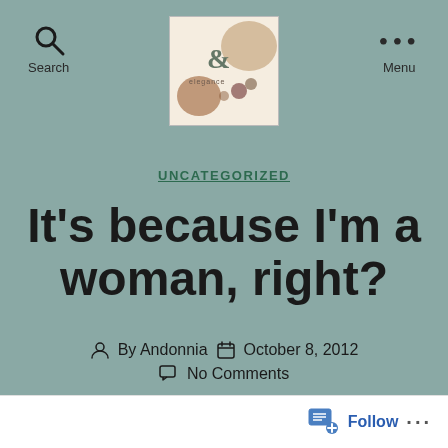Search | [Blog Logo] | Menu
UNCATEGORIZED
It's because I'm a woman, right?
By Andonnia   October 8, 2012
No Comments
Follow ...